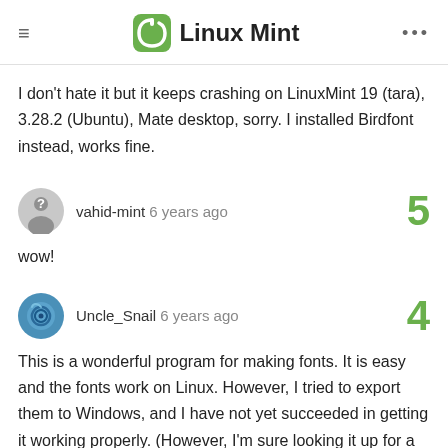Linux Mint
I don't hate it but it keeps crashing on LinuxMint 19 (tara), 3.28.2 (Ubuntu), Mate desktop, sorry. I installed Birdfont instead, works fine.
vahid-mint 6 years ago
wow!
Uncle_Snail 6 years ago
This is a wonderful program for making fonts. It is easy and the fonts work on Linux. However, I tried to export them to Windows, and I have not yet succeeded in getting it working properly. (However, I'm sure looking it up for a few hours would show me